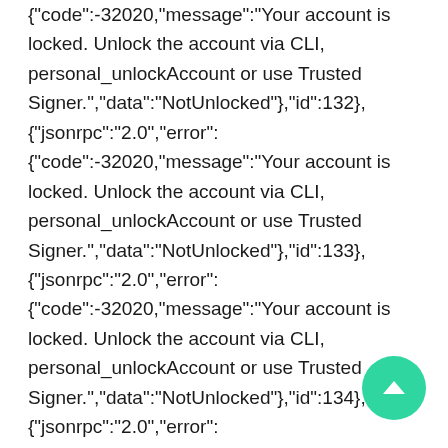{"code":-32020,"message":"Your account is locked. Unlock the account via CLI, personal_unlockAccount or use Trusted Signer.","data":"NotUnlocked"},"id":132}, {"jsonrpc":"2.0","error": {"code":-32020,"message":"Your account is locked. Unlock the account via CLI, personal_unlockAccount or use Trusted Signer.","data":"NotUnlocked"},"id":133}, {"jsonrpc":"2.0","error": {"code":-32020,"message":"Your account is locked. Unlock the account via CLI, personal_unlockAccount or use Trusted Signer.","data":"NotUnlocked"},"id":134}, {"jsonrpc":"2.0","error": {"code":-32020,"message":"Your account is locked.